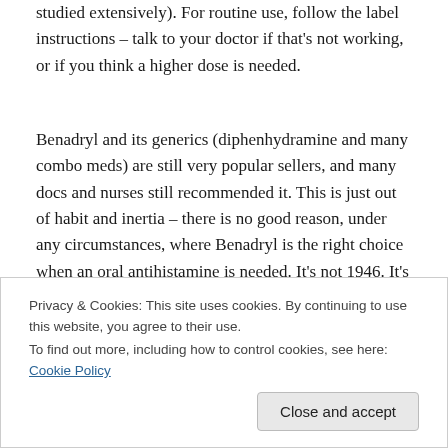studied extensively). For routine use, follow the label instructions – talk to your doctor if that's not working, or if you think a higher dose is needed.
Benadryl and its generics (diphenhydramine and many combo meds) are still very popular sellers, and many docs and nurses still recommended it. This is just out of habit and inertia – there is no good reason, under any circumstances, where Benadryl is the right choice when an oral antihistamine is needed. It's not 1946. It's time for
Privacy & Cookies: This site uses cookies. By continuing to use this website, you agree to their use.
To find out more, including how to control cookies, see here: Cookie Policy